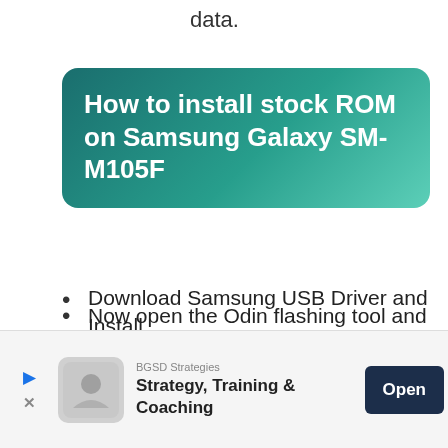data.
How to install stock ROM on Samsung Galaxy SM-M105F
Download Samsung USB Driver and Install.
Download and open ODIN tools on your computer.
Now go to the download mode on your Samsung smartphone.
Now open the Odin flashing tool and
click BK to select the BK file. click ( K
BGSD Strategies
Strategy, Training & Coaching
Open